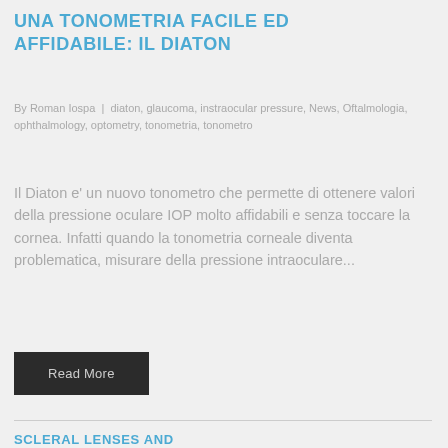UNA TONOMETRIA FACILE ED AFFIDABILE: IL DIATON
By Roman Iospa | diaton, glaucoma, instraocular pressure, News, Oftalmologia, ophthalmology, optometry, tonometria, tonometro
Il Diaton e' un nuovo tonometro che permette di ottenere valori della pressione oculare IOP molto affidabili e senza toccare la cornea. Infatti quando la tonometria corneale diventa problematica, misurare della pressione intraoculare...
Read More
SCLERAL LENSES AND